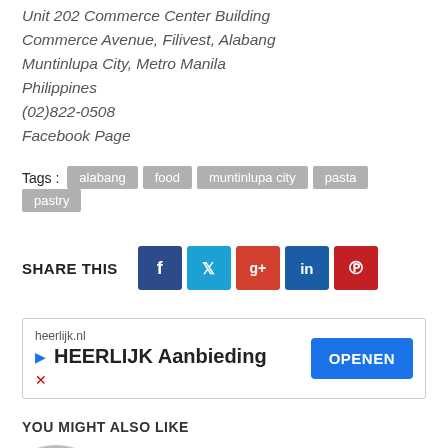Unit 202 Commerce Center Building
Commerce Avenue, Filivest, Alabang
Muntinlupa City, Metro Manila
Philippines
(02)822-0508
Facebook Page
Tags : alabang  food  muntinlupa city  pasta  pastry
SHARE THIS
[Figure (infographic): Social share buttons: Facebook (dark blue), Twitter (light blue), Google+ (red-orange), LinkedIn (dark blue), Pinterest (red)]
[Figure (infographic): Advertisement banner: heerlijk.nl | HEERLIJK Aanbieding | OPENEN button]
YOU MIGHT ALSO LIKE